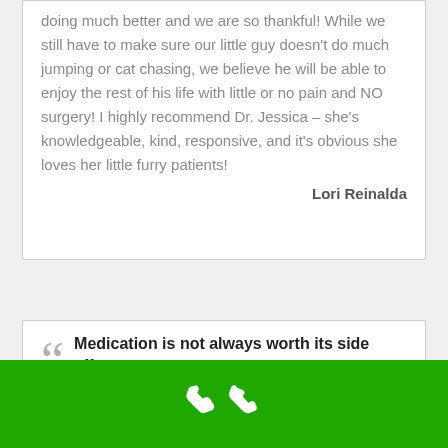doing much better and we are so thankful! While we still have to make sure our little guy doesn't do much jumping or cat chasing, we believe he will be able to enjoy the rest of his life with little or no pain and NO surgery! I highly recommend Dr. Jessica – she's knowledgeable, kind, responsive, and it's obvious she loves her little furry patients!
Lori Reinalda
Medication is not always worth its side effects...
[Figure (other): Green bar at the bottom with a white phone icon in the center, representing a call-to-action button.]